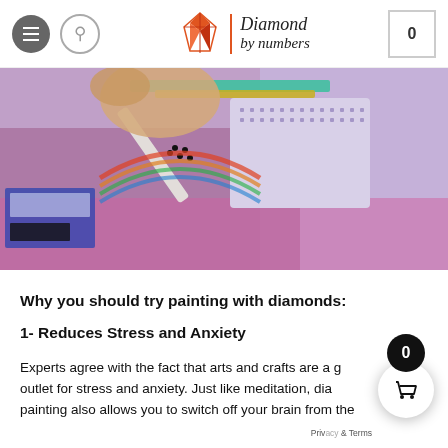Diamond by numbers — navigation header with hamburger menu, search, logo, and cart (0)
[Figure (photo): Close-up photo of a hand placing diamonds/rhinestones onto a diamond painting canvas, with colorful gemstones and a tool visible]
Why you should try painting with diamonds:
1- Reduces Stress and Anxiety
Experts agree with the fact that arts and crafts are a g... outlet for stress and anxiety. Just like meditation, dia... painting also allows you to switch off your brain from the...